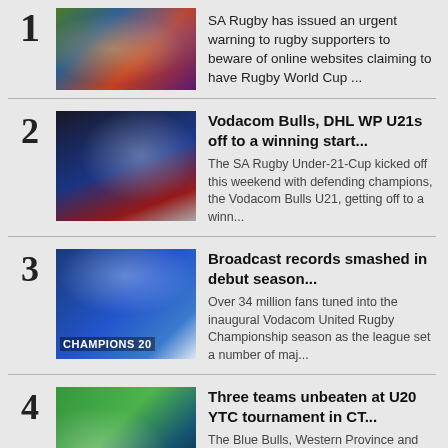1 SA Rugby has issued an urgent warning to rugby supporters to beware of online websites claiming to have Rugby World Cup ...
2 Vodacom Bulls, DHL WP U21s off to a winning start... The SA Rugby Under-21-Cup kicked off this weekend with defending champions, the Vodacom Bulls U21, getting off to a winn...
3 Broadcast records smashed in debut season... Over 34 million fans tuned into the inaugural Vodacom United Rugby Championship season as the league set a number of maj...
4 Three teams unbeaten at U20 YTC tournament in CT... The Blue Bulls, Western Province and Limpopo finished the Under-20 Youth Training Centre (YTC) tournament in Cape Town u...